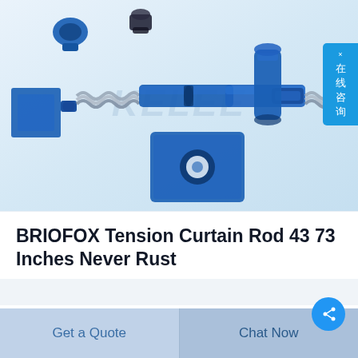[Figure (photo): Product photo of BRIOFOX tension curtain rod components including blue plastic end caps, flanges, a square mounting plate, a cylindrical sleeve, and a metallic spiral/coiled rod, shown exploded/disassembled against a light blue-white background. A watermark reading 'KELEE' is visible in the center.]
BRIOFOX Tension Curtain Rod 43 73 Inches Never Rust
Get a Quote   Chat Now